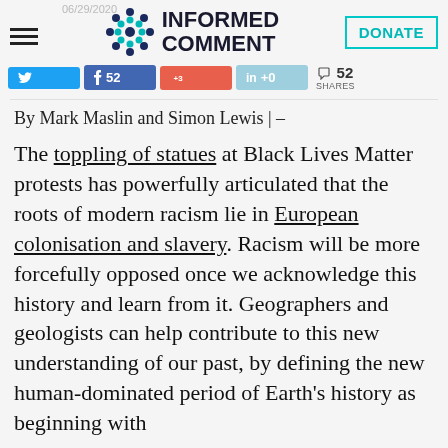Informed Comment — 06/29/2020
By Mark Maslin and Simon Lewis | –
The toppling of statues at Black Lives Matter protests has powerfully articulated that the roots of modern racism lie in European colonisation and slavery. Racism will be more forcefully opposed once we acknowledge this history and learn from it. Geographers and geologists can help contribute to this new understanding of our past, by defining the new human-dominated period of Earth's history as beginning with